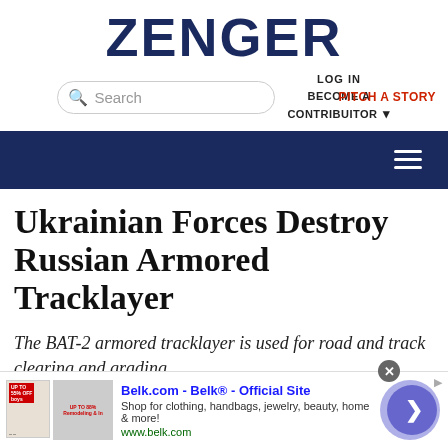ZENGER
LOG IN  BECOME A CONTRIBUITOR  PITCH A STORY
Ukrainian Forces Destroy Russian Armored Tracklayer
The BAT-2 armored tracklayer is used for road and track clearing and grading.
[Figure (screenshot): Advertisement banner for Belk.com - Belk Official Site. Shows product thumbnails, ad text 'Shop for clothing, handbags, jewelry, beauty, home & more! www.belk.com', and a circular blue arrow button. Has a close X button and ad info arrow.]